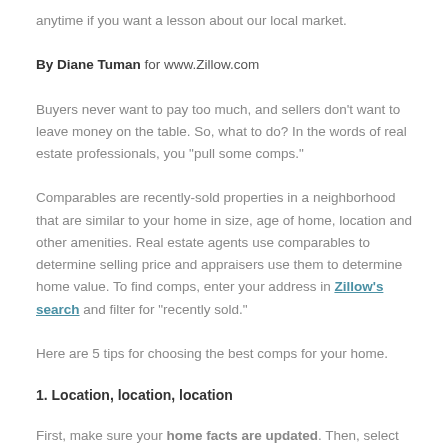anytime if you want a lesson about our local market.
By Diane Tuman for www.Zillow.com
Buyers never want to pay too much, and sellers don't want to leave money on the table. So, what to do? In the words of real estate professionals, you “pull some comps.”
Comparables are recently-sold properties in a neighborhood that are similar to your home in size, age of home, location and other amenities. Real estate agents use comparables to determine selling price and appraisers use them to determine home value. To find comps, enter your address in Zillow’s search and filter for “recently sold.”
Here are 5 tips for choosing the best comps for your home.
1. Location, location, location
First, make sure your home facts are updated. Then, select